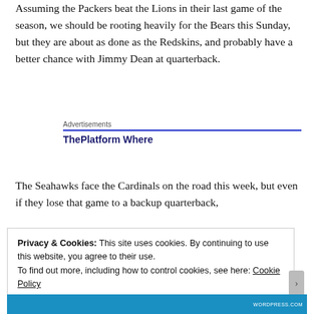Assuming the Packers beat the Lions in their last game of the season, we should be rooting heavily for the Bears this Sunday, but they are about as done as the Redskins, and probably have a better chance with Jimmy Dean at quarterback.
Advertisements
ThePlatform Where
The Seahawks face the Cardinals on the road this week, but even if they lose that game to a backup quarterback,
Privacy & Cookies: This site uses cookies. By continuing to use this website, you agree to their use.
To find out more, including how to control cookies, see here: Cookie Policy

Close and accept